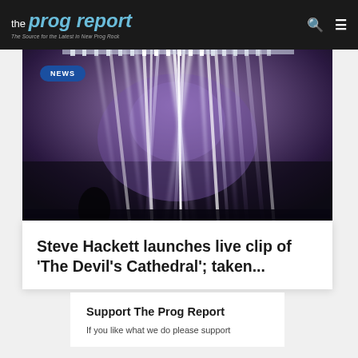the prog report — The Source for the Latest in New Prog Rock
[Figure (photo): Concert stage lighting photo with bright vertical light rays in white and purple/violet hues against a dark background. A 'NEWS' badge overlay appears in the upper left.]
Steve Hackett launches live clip of 'The Devil's Cathedral'; taken...
Support The Prog Report
If you like what we do please support